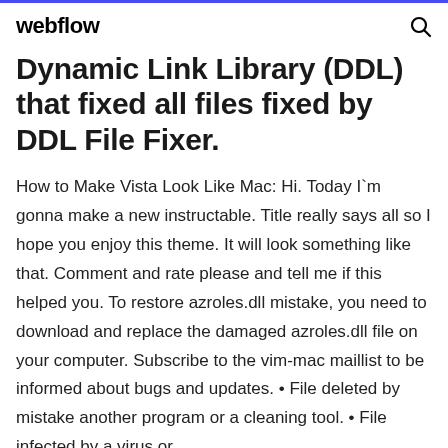webflow
Dynamic Link Library (DDL) that fixed all files fixed by DDL File Fixer.
How to Make Vista Look Like Mac: Hi. Today I`m gonna make a new instructable. Title really says all so I hope you enjoy this theme. It will look something like that. Comment and rate please and tell me if this helped you. To restore azroles.dll mistake, you need to download and replace the damaged azroles.dll file on your computer. Subscribe to the vim-mac maillist to be informed about bugs and updates. • File deleted by mistake another program or a cleaning tool. • File infected by a virus or